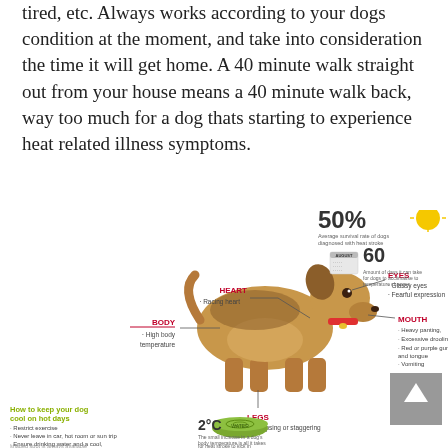tired, etc. Always works according to your dogs condition at the moment, and take into consideration the time it will get home. A 40 minute walk straight out from your house means a 40 minute walk back, way too much for a dog thats starting to experience heat related illness symptoms.
[Figure (infographic): Dog anatomy infographic showing heat stroke symptoms: HEART (Racing heart), EYES (Glassy eyes, Fearful expression), MOUTH (Heavy panting, Excessive drooling, Red or purple gums and tongue, Vomiting), BODY (High body temperature), LEGS (Collapsing or staggering). Below: tips on how to keep your dog cool on hot days, 50% average survival rate stat, 60 days acclimatisation stat, 2°C body temperature increase stat, and a bowl illustration.]